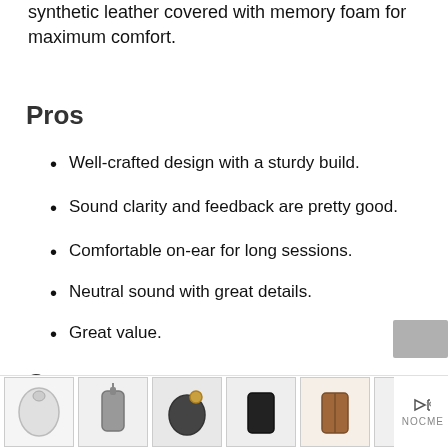synthetic leather covered with memory foam for maximum comfort.
Pros
Well-crafted design with a sturdy build.
Sound clarity and feedback are pretty good.
Comfortable on-ear for long sessions.
Neutral sound with great details.
Great value.
Cons
A little heavy.
[Figure (other): Advertisement banner showing headphone cases and accessories with play/close controls and NOCME brand label]